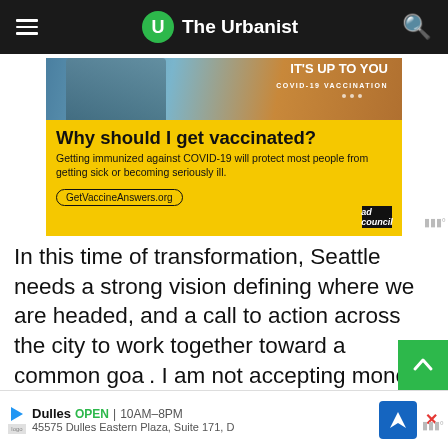The Urbanist
[Figure (photo): COVID-19 vaccination advertisement. Yellow background with a photo of a bearded man at the top. Text reads: 'Why should I get vaccinated? Getting immunized against COVID-19 will protect most people from getting sick or becoming seriously ill. GetVaccineAnswers.org' with Ad Council logo.]
In this time of transformation, Seattle needs a strong vision defining where we are headed, and a call to action across the city to work together toward a common goal. I am not accepting money from special interests, and as such, my administration will not be beholden. I believe Seattle is hungry for courageous leadership willing to do the right thing, even when it's hard. I believe in self-interest...
[Figure (screenshot): Bottom banner ad for Dulles store: OPEN 10AM-8PM, 45575 Dulles Eastern Plaza, Suite 171, D with navigation arrow icon.]